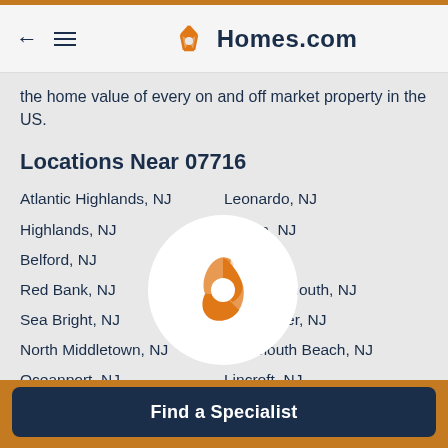Homes.com
the home value of every on and off market property in the US.
Locations Near 07716
Atlantic Highlands, NJ
Leonardo, NJ
Highlands, NJ
Haven, NJ
Belford, NJ
on, NJ
Red Bank, NJ
Fort Monmouth, NJ
Sea Bright, NJ
Little Silver, NJ
North Middletown, NJ
Monmouth Beach, NJ
Oceanport, NJ
Lincroft, NJ
[Figure (logo): Homes.com orange star/pentagon logo in a white circle overlay]
Find a Specialist